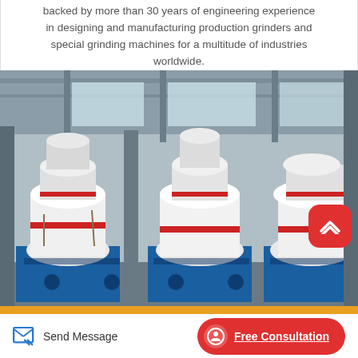backed by more than 30 years of engineering experience in designing and manufacturing production grinders and special grinding machines for a multitude of industries worldwide.
[Figure (photo): Factory floor showing three large industrial grinding machines wrapped in white protective coverings, mounted on blue bases, inside a large industrial warehouse with high ceilings and natural light from windows.]
Send Message
Free Consultation